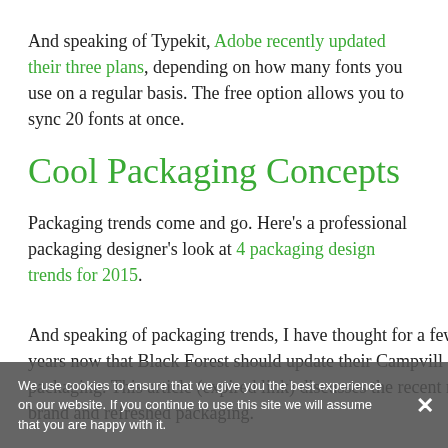And speaking of Typekit, Adobe recently updated their three plans, depending on how many fonts you use on a regular basis. The free option allows you to sync 20 fonts at once.
Cool Packaging Concepts
Packaging trends come and go. Here's a professional packaging designer's look at 4 packaging design trends for 2015.
And speaking of packaging trends, I have thought for a few years now that Black Forest should update their Campvill packaging. This article (expired link) discusses the recent re-brand and refreshed packaging.
We use cookies to ensure that we give you the best experience on our website. If you continue to use this site we will assume that you are happy with it.